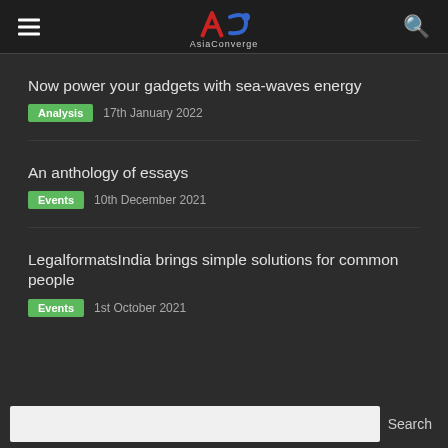AsiaConverge
Now power your gadgets with sea-waves energy
Analysis  17th January 2022
An anthology of essays
Events  10th December 2021
LegalformatsIndia brings simple solutions for common people
Events  1st October 2021